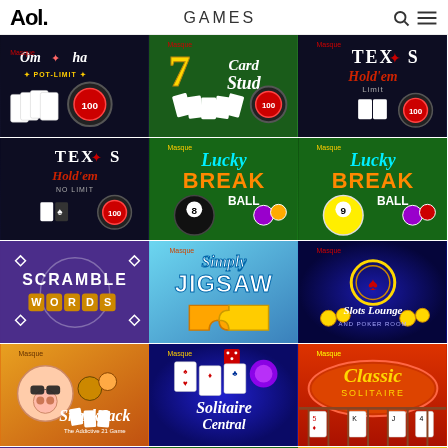AOL. GAMES
[Figure (screenshot): AOL Games page showing a grid of 12+ game thumbnails including Omaha Pot-Limit, 7 Card Stud, Texas Hold'em Limit, Texas Hold'em No Limit, Lucky Break 8 Ball, Lucky Break 9 Ball, Scramble Words, Simply Jigsaw, Slots Lounge and Poker Room, SnackJack, Solitaire Central, Classic Solitaire, and partial row at bottom]